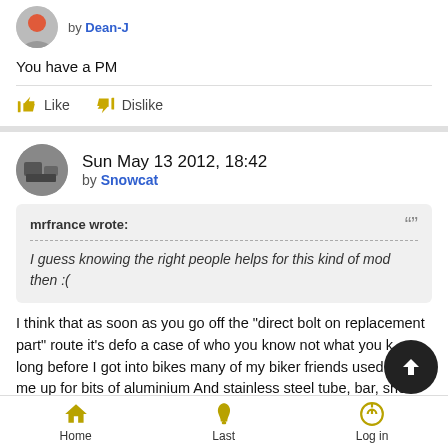by Dean-J
You have a PM
Like   Dislike
Sun May 13 2012, 18:42
by Snowcat
mrfrance wrote:
I guess knowing the right people helps for this kind of mod then :(
I think that as soon as you go off the "direct bolt on replacement part" route it's defo a case of who you know not what you k... long before I got into bikes many of my biker friends used to... me up for bits of aluminium And stainless steel tube, bar, sheet
Home   Last   Log in